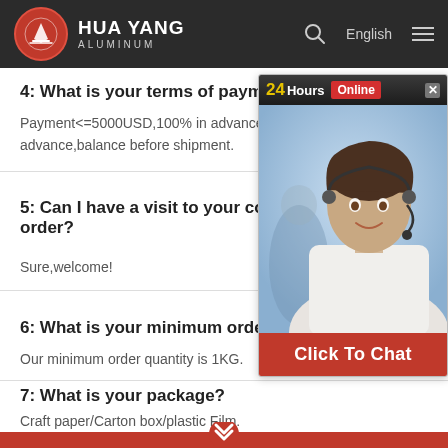HUA YANG ALUMINUM
4: What is your terms of payment?
Payment<=5000USD,100% in advance.Payment advance,balance before shipment.
5: Can I have a visit to your company order?
Sure,welcome!
[Figure (photo): Customer service chat widget with 24Hours Online label, photo of smiling woman with headset, and Click To Chat button]
6: What is your minimum order quantity?
Our minimum order quantity is 1KG.
7: What is your package?
Craft paper/Carton box/plastic Film.